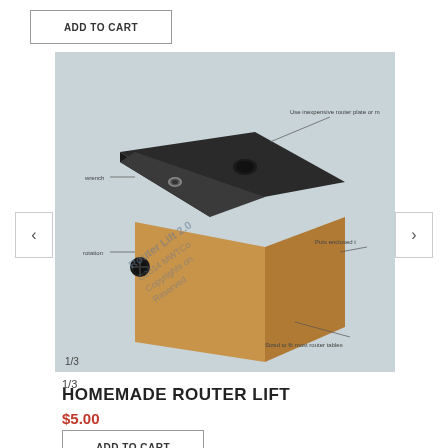ADD TO CART
[Figure (illustration): 3D CAD rendering of a homemade router lift - a wooden box with dark top plate featuring two holes (one for the router bit, one for adjustment), a black knob on the side, with annotation labels pointing to various features. Watermark text reads 'Router Lift 2.0 C2014 MWTCo Copyrights on Reserved'. Annotations include 'Use inexpensive router plate or m...', 'wrench', 'Puts enclosed t...', 'Sized to fit most router tables'. Image counter shows 1/3.]
HOMEMADE ROUTER LIFT
$5.00
ADD TO CART